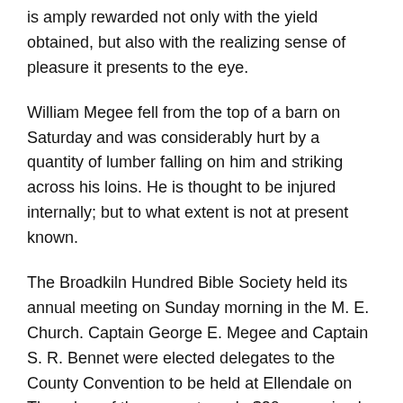is amply rewarded not only with the yield obtained, but also with the realizing sense of pleasure it presents to the eye.
William Megee fell from the top of a barn on Saturday and was considerably hurt by a quantity of lumber falling on him and striking across his loins. He is thought to be injured internally; but to what extent is not at present known.
The Broadkiln Hundred Bible Society held its annual meeting on Sunday morning in the M. E. Church. Captain George E. Megee and Captain S. R. Bennet were elected delegates to the County Convention to be held at Ellendale on Thursday, of the present week. $20 was raised, and Mrs. G. E. Megee, and Mrs. Mary Cade, were made life members of the Society. The M. P. Church held its meeting on Sunday evening. Mrs. Martha Mustard[ii] was made a life member of the Society. No delegates were elected to represent the church. The presiding officer told me: “I didn’t know we had to elect any.”
The anniversary of the Epworth League was commemorated at the M. E. Church on Sunday evening.